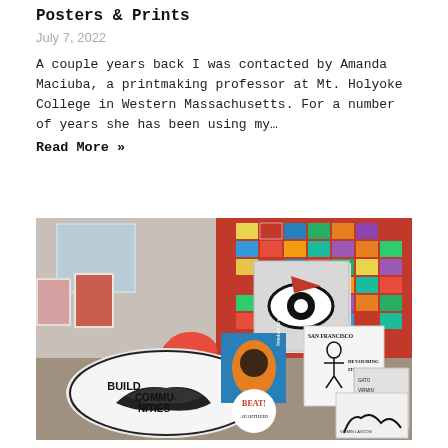Posters & Prints
July 7, 2022
A couple years back I was contacted by Amanda Maciuba, a printmaking professor at Mt. Holyoke College in Western Massachusetts. For a number of years she has been using my… Read More »
[Figure (photo): Gallery room displaying colorful posters and prints on walls. In the foreground are large cubes with graphic poster artwork including eyes, birds, and text reading 'BUILD COMMUNITIES', 'SAN FRANCISCO DEVOURING ITS FUTURE', 'freedom singers 65', 'BEAT! APARTHEID'. A red bean bag chair sits on the floor. The background wall is covered with a grid of vibrant posters.]